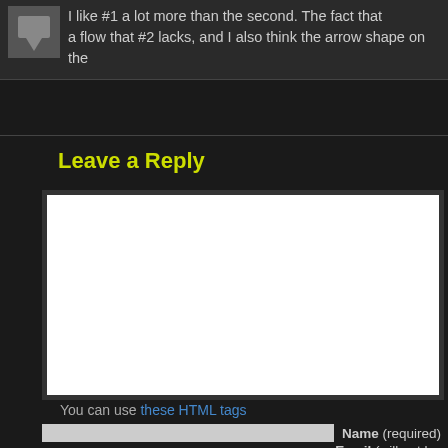I like #1 a lot more than the second. The fact that a flow that #2 lacks, and I also think the arrow shape on the
Leave a Reply
[Figure (other): Large white comment textarea input box]
You can use these HTML tags
Name (required)
Email (will not be p...